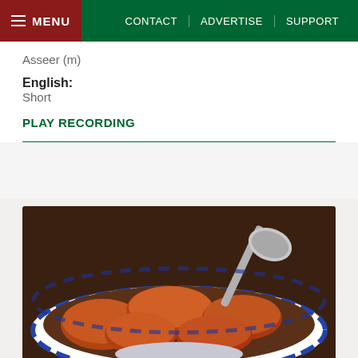MENU | CONTACT | ADVERTISE | SUPPORT
Asseer (m)
English: Short
PLAY RECORDING
[Figure (photo): A blue and white porcelain bowl filled with pieces of fried or roasted food (possibly plantains or potatoes) coated in spices, with a silver spoon resting in the bowl, set against a dark wooden background.]